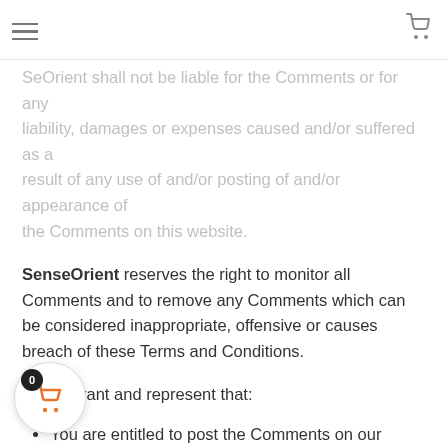Navigation header with hamburger menu and shopping cart icon
and opinions. To the extent permitted by applicable laws, SenseOrient shall not be liable for the Comments or for any liability, damages or expenses caused and/or suffered as a result of any use of and/or posting of and/or appearance of the Comments on this website.
SenseOrient reserves the right to monitor all Comments and to remove any Comments which can be considered inappropriate, offensive or causes breach of these Terms and Conditions.
You warrant and represent that:
You are entitled to post the Comments on our website and have all necessary licenses and consents to do so;
The Comments do not invade any intellectual property including without limitation copyright, patent or trademark of any third party;